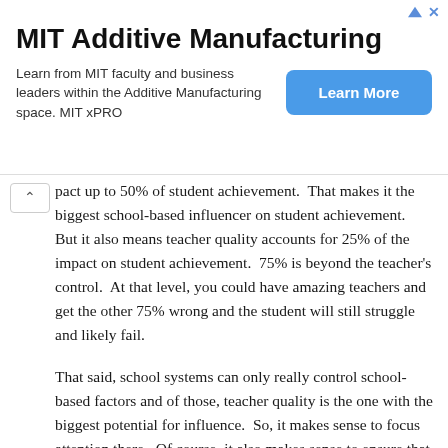[Figure (other): MIT Additive Manufacturing advertisement banner with title, description text, and a blue 'Learn More' button.]
pact up to 50% of student achievement.  That makes it the biggest school-based influencer on student achievement.  But it also means teacher quality accounts for 25% of the impact on student achievement.  75% is beyond the teacher's control.  At that level, you could have amazing teachers and get the other 75% wrong and the student will still struggle and likely fail.
That said, school systems can only really control school-based factors and of those, teacher quality is the one with the biggest potential for influence.  So, it makes sense to focus attention there.  Of course, it also makes sense to ensure that schools are clean and safe, that class size is optimized, that principals are instructional leaders, and that the overall environment is conducive to learning.